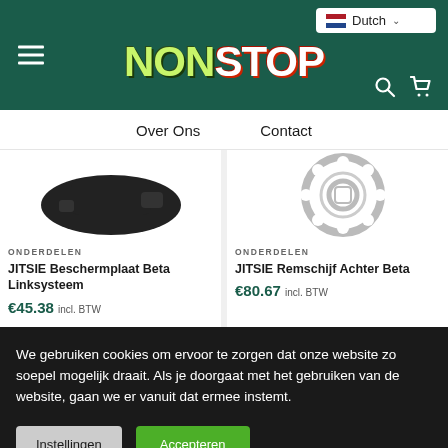NON STOP - e-commerce website header with hamburger menu, logo, language selector (Dutch), search and cart icons
Over Ons | Contact
[Figure (photo): Product image - JITSIE Beschermplaat Beta Linksysteem (black protective plate)]
ONDERDELEN
JITSIE Beschermplaat Beta Linksysteem
€45.38 incl. BTW
[Figure (photo): Product image - JITSIE Remschijf Achter Beta (silver brake disc)]
ONDERDELEN
JITSIE Remschijf Achter Beta
€80.67 incl. BTW
We gebruiken cookies om ervoor te zorgen dat onze website zo soepel mogelijk draait. Als je doorgaat met het gebruiken van de website, gaan we er vanuit dat ermee instemt.
Instellingen
Accepteren